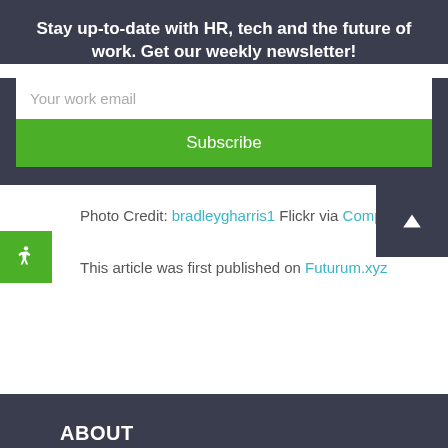Stay up-to-date with HR, tech and the future of work. Get our weekly newsletter!
Your work email
Subscribe
Photo Credit: bradleygharris1 Flickr via Compfight
This article was first published on Futurum.xyz
ABOUT
talentculture